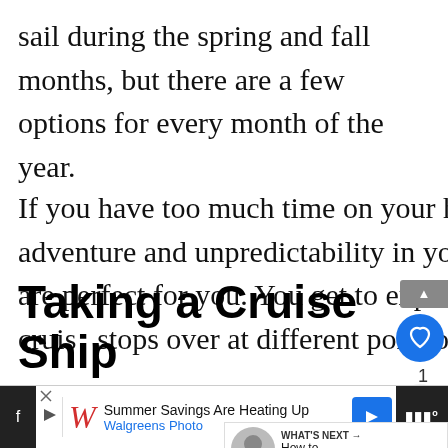sail during the spring and fall months, but there are a few options for every month of the year.
If you have too much time on your hands and want to add a dash of adventure and unpredictability in your travels, repositioning cruises are perfect for you. You get to experience different cultures as your cruise stops over at different ports of call.
Taking a Cruise Ship
[Figure (other): Advertisement banner: Walgreens Photo - Summer Savings Are Heating Up]